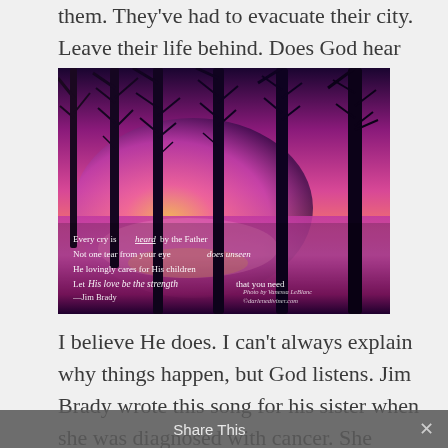them. They've had to evacuate their city. Leave their life behind. Does God hear their cries?
[Figure (photo): A pink and purple sunset through bare winter trees reflected on water, overlaid with a poem: 'Every cry is heard by the Father / Not one tear from your eye does unseen / He lovingly cares for His children / Let His love be the strength that you need / —Jim Brady'. Photo credit: Photo by Vanessa LeBlanc, © darlenedianer.com]
I believe He does. I can't always explain why things happen, but God listens. Jim Brady wrote this song for his sister when she was diagnosed with cancer. She
Share This